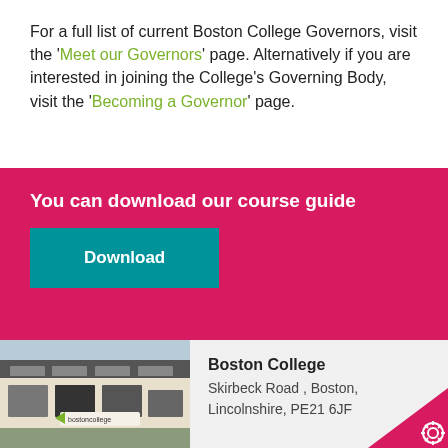For a full list of current Boston College Governors, visit the 'Meet our Governors' page. Alternatively if you are interested in joining the College's Governing Body, visit the 'Becoming a Governor' page.
You can download our course guide
Download
[Figure (photo): Photo of Boston College building exterior with 'bostoncollege' signage and green arrow logo]
Boston College
Skirbeck Road , Boston,
Lincolnshire, PE21 6JF